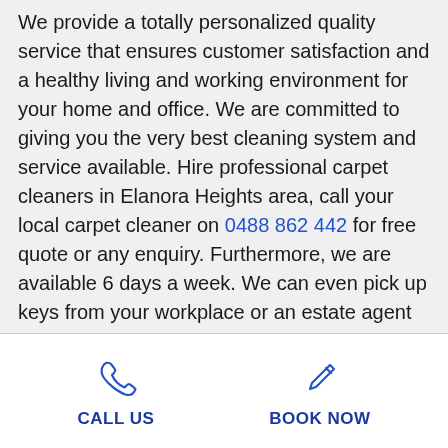We provide a totally personalized quality service that ensures customer satisfaction and a healthy living and working environment for your home and office. We are committed to giving you the very best cleaning system and service available. Hire professional carpet cleaners in Elanora Heights area, call your local carpet cleaner on 0488 862 442 for free quote or any enquiry. Furthermore, we are available 6 days a week. We can even pick up keys from your workplace or an estate agent for only a small fee or even free of charge if it is nearby!
CALL US | BOOK NOW